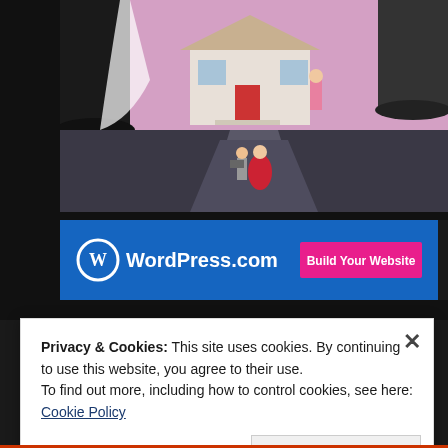[Figure (illustration): Movie poster illustration showing giant feet/boots flanking a suburban house with a pink sky, and small figures (one in red dress, one in gray) walking up a driveway toward the house]
[Figure (screenshot): WordPress.com advertisement banner with blue background showing WordPress logo and 'WordPress.com' text on the left, and a pink 'Build Your Website' button on the right]
REPORT THIS AD
Privacy & Cookies: This site uses cookies. By continuing to use this website, you agree to their use.
To find out more, including how to control cookies, see here: Cookie Policy
Close and accept